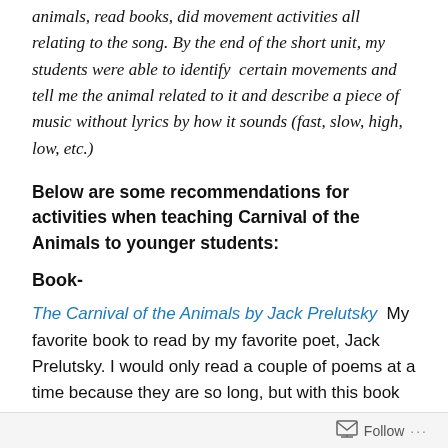animals, read books, did movement activities all relating to the song. By the end of the short unit, my students were able to identify  certain movements and tell me the animal related to it and describe a piece of music without lyrics by how it sounds (fast, slow, high, low, etc.)
Below are some recommendations for activities when teaching Carnival of the Animals to younger students:
Book-
The Carnival of the Animals by Jack Prelutsky  My favorite book to read by my favorite poet, Jack Prelutsky. I would only read a couple of poems at a time because they are so long, but with this book they can be easily segmented and not ruin the story by dividing it up. The CD that comes with it is fantastic as well. I loved to let Jack read for me and
Follow